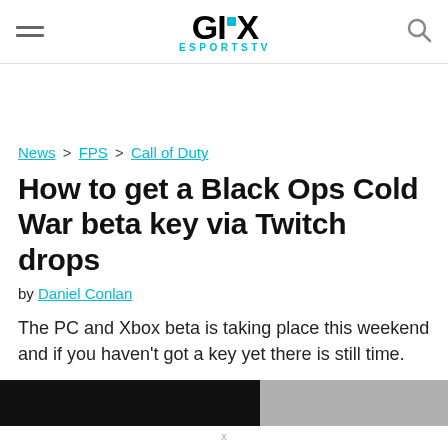GINX ESPORTS TV
News > FPS > Call of Duty
How to get a Black Ops Cold War beta key via Twitch drops
by Daniel Conlan
The PC and Xbox beta is taking place this weekend and if you haven't got a key yet there is still time.
[Figure (photo): Partial image strip at bottom of page showing dark and light sections]